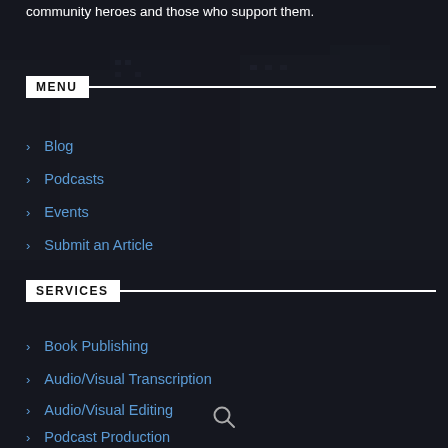community heroes and those who support them.
MENU
Blog
Podcasts
Events
Submit an Article
SERVICES
Book Publishing
Audio/Visual Transcription
Audio/Visual Editing
Podcast Production